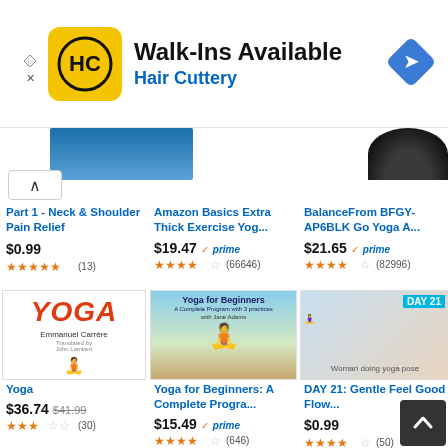[Figure (screenshot): Advertisement banner for Hair Cuttery: Walk-Ins Available with HC logo and navigation arrow icon]
Walk-Ins Available
Hair Cuttery
Part 1 - Neck & Shoulder Pain Relief
$0.99
(13)
Amazon Basics Extra Thick Exercise Yog...
$19.47
(66646)
BalanceFrom BFGY-AP6BLK Go Yoga A...
$21.65
(82996)
Yoga
$36.74 $41.99
(30)
Yoga for Beginners: A Complete Progra...
$15.49
(646)
DAY 21: Gentle Feel Good Flow...
$0.99
(50)